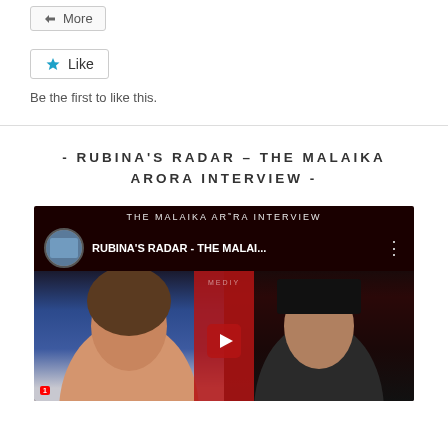[Figure (screenshot): More button UI element]
[Figure (screenshot): Like button UI element with star icon]
Be the first to like this.
- RUBINA'S RADAR – THE MALAIKA ARORA INTERVIEW -
[Figure (screenshot): YouTube video thumbnail for Rubina's Radar - The Malaika Arora Interview, showing two women's faces with a red play button overlay and channel header text]